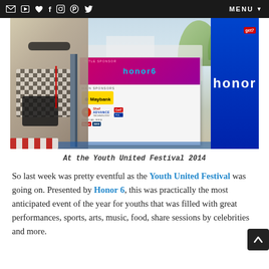✉ ▶ ♥ f ⊙ ⊕ ▶   MENU ▼
[Figure (photo): A woman wearing sunglasses and a checkered top at the Youth United Festival 2014, standing next to a sponsor board showing Honor 6, Maybank, Shell Advance logos and other sponsors. A blue Honor banner is visible on the right.]
At the Youth United Festival 2014
So last week was pretty eventful as the Youth United Festival was going on. Presented by Honor 6, this was practically the most anticipated event of the year for youths that was filled with great performances, sports, arts, music, food, share sessions by celebrities and more.